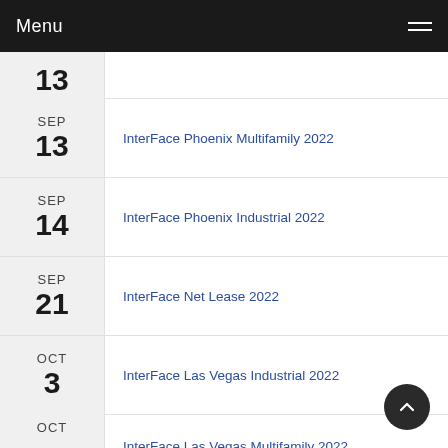Menu
13 (partial, date cut off at top)
SEP 13 — InterFace Phoenix Multifamily 2022
SEP 14 — InterFace Phoenix Industrial 2022
SEP 21 — InterFace Net Lease 2022
OCT 3 — InterFace Las Vegas Industrial 2022
OCT (partial) — InterFace Las Vegas Multifamily 2022